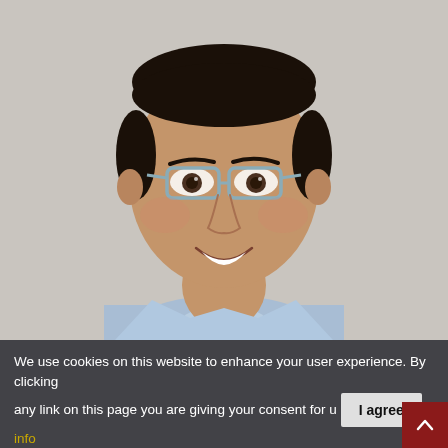[Figure (photo): Headshot of a smiling man with dark hair, wearing rectangular glasses and a light blue dress shirt, photographed against a light grey background.]
We use cookies on this website to enhance your user experience. By clicking any link on this page you are giving your consent for u [I agree] More info